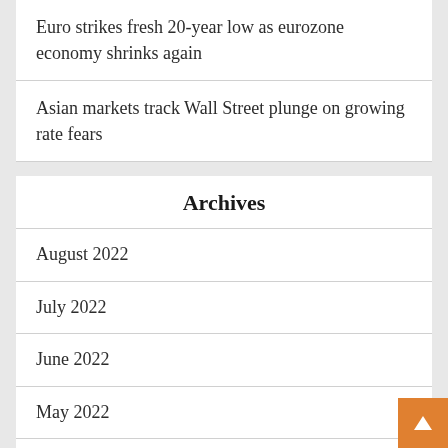Euro strikes fresh 20-year low as eurozone economy shrinks again
Asian markets track Wall Street plunge on growing rate fears
Archives
August 2022
July 2022
June 2022
May 2022
April 2022
March 2022